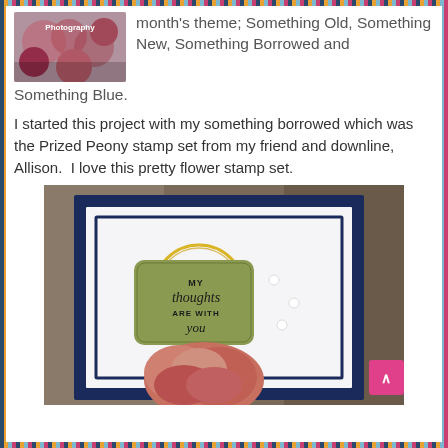[Figure (photo): Small thumbnail photo of floral arrangement with text 'Photography' overlaid]
month's theme; Something Old, Something New, Something Borrowed and Something Blue.
I started this project with my something borrowed which was the Prized Peony stamp set from my friend and downline, Allison.  I love this pretty flower stamp set.
[Figure (photo): Handmade greeting card with navy blue border, white background, gold twine circle, olive green sentiment tag reading 'MY thoughts ARE WITH you', pink peony flower stamp, and pearl embellishments]